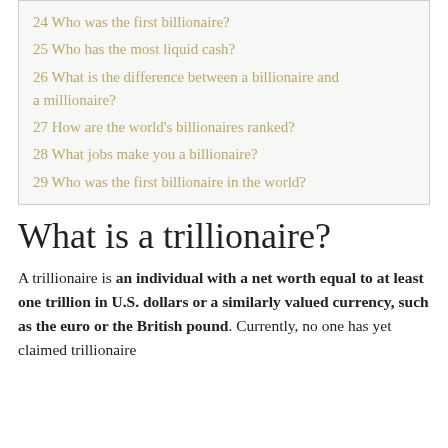24 Who was the first billionaire?
25 Who has the most liquid cash?
26 What is the difference between a billionaire and a millionaire?
27 How are the world's billionaires ranked?
28 What jobs make you a billionaire?
29 Who was the first billionaire in the world?
What is a trillionaire?
A trillionaire is an individual with a net worth equal to at least one trillion in U.S. dollars or a similarly valued currency, such as the euro or the British pound. Currently, no one has yet claimed trillionaire